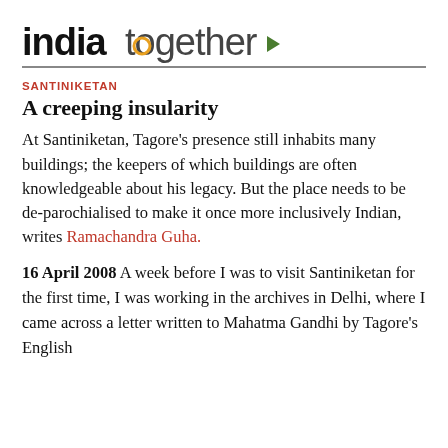india together
SANTINIKETAN
A creeping insularity
At Santiniketan, Tagore's presence still inhabits many buildings; the keepers of which buildings are often knowledgeable about his legacy. But the place needs to be de-parochialised to make it once more inclusively Indian, writes Ramachandra Guha.
16 April 2008 A week before I was to visit Santiniketan for the first time, I was working in the archives in Delhi, where I came across a letter written to Mahatma Gandhi by Tagore's English